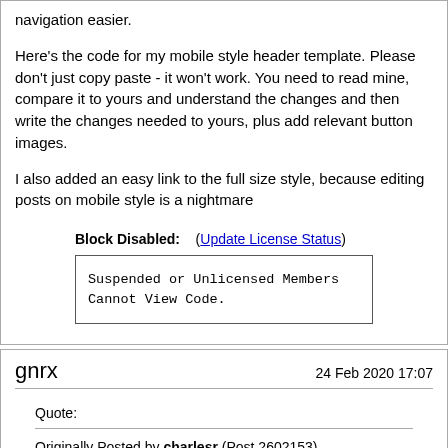navigation easier.

Here's the code for my mobile style header template. Please don't just copy paste - it won't work. You need to read mine, compare it to yours and understand the changes and then write the changes needed to yours, plus add relevant button images.

I also added an easy link to the full size style, because editing posts on mobile style is a nightmare
Block Disabled:    (Update License Status)
Suspended or Unlicensed Members Cannot View Code.
gnrx
24 Feb 2020 17:07
Quote:
Originally Posted by charlesr (Post 2602153)
Note that I added in extra buttons to the mobile header to make navigation easier.

Here's the code for my mobile style header template. Please don't just copy paste - it won't work. You need to read mine, compare it to yours and understand the changes and then